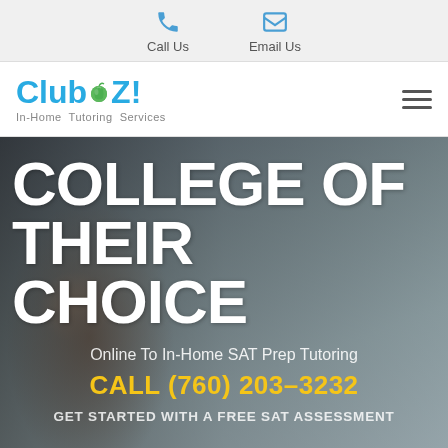Call Us   Email Us
[Figure (logo): Club Z! In-Home Tutoring Services logo in blue with green apple icon]
COLLEGE OF THEIR CHOICE
Online To In-Home SAT Prep Tutoring
CALL (760) 203-3232
GET STARTED WITH A FREE SAT ASSESSMENT